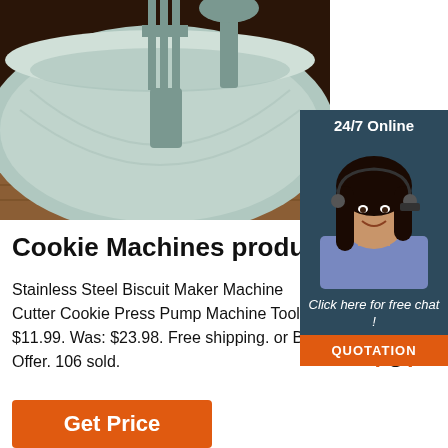[Figure (photo): Product photo: light teal/mint colored mixing bowl with fork and spatula utensils, on a wooden surface with dark background]
[Figure (photo): 24/7 Online chat widget with a photo of a smiling woman wearing a headset, dark blue header reading '24/7 Online', a message 'Click here for free chat !', and an orange QUOTATION button]
Cookie Machines products for
Stainless Steel Biscuit Maker Machine Cutter Cookie Press Pump Machine Tool. $11.99. Was: $23.98. Free shipping. or Best Offer. 106 sold.
[Figure (other): Orange TOP button with dots above it forming an upward arrow shape]
Get Price